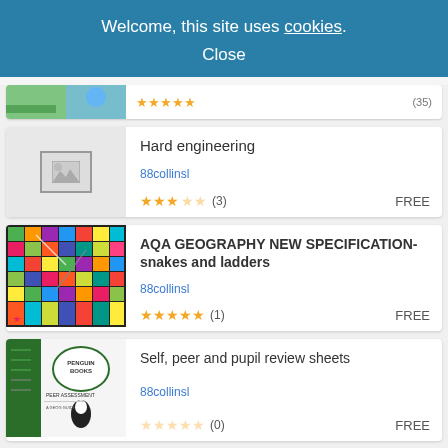Welcome, this site uses cookies. Close
[Figure (screenshot): Partially visible listing card at top with star ratings]
Hard engineering
88collinsl
★★★☆☆ (3) FREE
[Figure (screenshot): AQA Geography snakes and ladders board game thumbnail - colorful grid]
AQA GEOGRAPHY NEW SPECIFICATION- snakes and ladders
88collinsl
★★★★★ (1) FREE
[Figure (screenshot): Penguin Books style peer assessment sheet thumbnail - green cover]
Self, peer and pupil review sheets
88collinsl
☆☆☆☆☆ (0) FREE
[Figure (screenshot): Partially visible bottom listing card with hand images]
'Formation 5' for new AQA spec